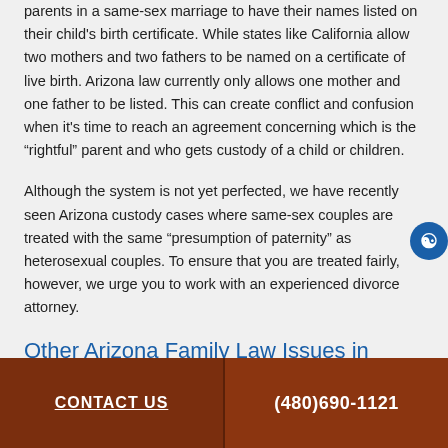parents in a same-sex marriage to have their names listed on their child's birth certificate. While states like California allow two mothers and two fathers to be named on a certificate of live birth. Arizona law currently only allows one mother and one father to be listed. This can create conflict and confusion when it's time to reach an agreement concerning which is the “rightful” parent and who gets custody of a child or children.
Although the system is not yet perfected, we have recently seen Arizona custody cases where same-sex couples are treated with the same “presumption of paternity” as heterosexual couples. To ensure that you are treated fairly, however, we urge you to work with an experienced divorce attorney.
Other Arizona Family Law Issues in
CONTACT US   (480)690-1121